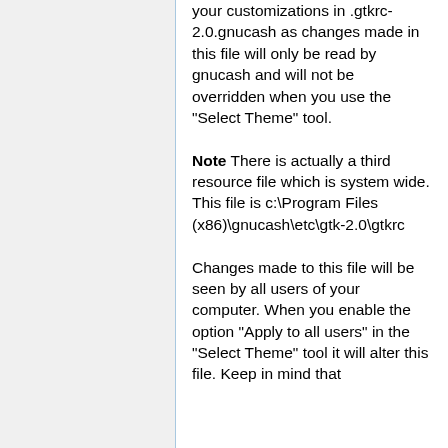your customizations in .gtkrc-2.0.gnucash as changes made in this file will only be read by gnucash and will not be overridden when you use the "Select Theme" tool. Note There is actually a third resource file which is system wide. This file is c:\Program Files (x86)\gnucash\etc\gtk-2.0\gtkrc Changes made to this file will be seen by all users of your computer. When you enable the option "Apply to all users" in the "Select Theme" tool it will alter this file. Keep in mind that